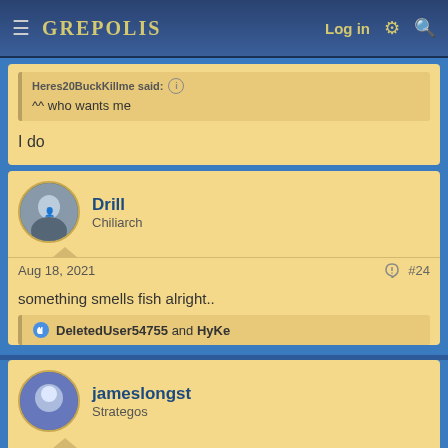GREPOLIS | Log in
Heres20BuckKillme said: ^^ who wants me
I do
Drill
Chiliarch
Aug 18, 2021  #24
something smells fish alright..
DeletedUser54755 and HyKe
jameslongst
Strategos